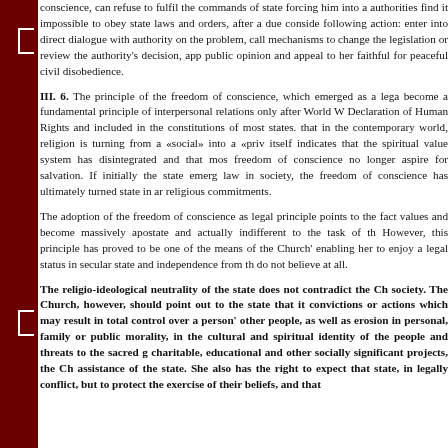conscience, can refuse to fulfil the commands of state forcing him into a... authorities find it impossible to obey state laws and orders, after a due consideration following action: enter into direct dialogue with authority on the problem, call mechanisms to change the legislation or review the authority's decision, app... public opinion and appeal to her faithful for peaceful civil disobedience.
III. 6. The principle of the freedom of conscience, which emerged as a legal... become a fundamental principle of interpersonal relations only after World W... Declaration of Human Rights and included in the constitutions of most states. that in the contemporary world, religion is turning from a «social» into a «priv... itself indicates that the spiritual value system has disintegrated and that mos... freedom of conscience no longer aspire for salvation. If initially the state emerg... law in society, the freedom of conscience has ultimately turned state in ar... religious commitments.
The adoption of the freedom of conscience as legal principle points to the fact... values and become massively apostate and actually indifferent to the task of th... However, this principle has proved to be one of the means of the Church'... enabling her to enjoy a legal status in secular state and independence from th... do not believe at all.
The religio-ideological neutrality of the state does not contradict the Ch... society. The Church, however, should point out to the state that it convictions or actions which may result in total control over a person's other people, as well as erosion in personal, family or public morality, in the cultural and spiritual identity of the people and threats to the sacred g... charitable, educational and other socially significant projects, the Ch... assistance of the state. She also has the right to expect that state, in... legally conflict, but to protect the exercise of their beliefs, and that...